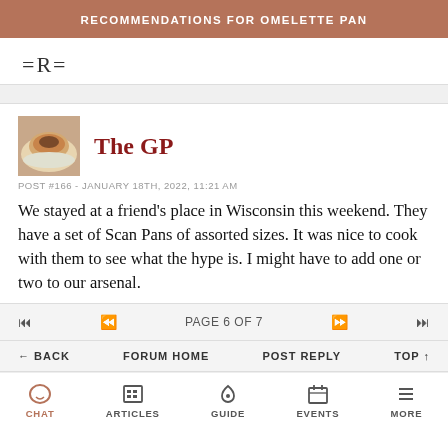RECOMMENDATIONS FOR OMELETTE PAN
=R=
[Figure (photo): Avatar photo of food on a plate]
The GP
POST #166 - JANUARY 18TH, 2022, 11:21 AM
We stayed at a friend's place in Wisconsin this weekend. They have a set of Scan Pans of assorted sizes. It was nice to cook with them to see what the hype is. I might have to add one or two to our arsenal.
PAGE 6 OF 7
← BACK   FORUM HOME   POST REPLY   TOP ↑
CHAT   ARTICLES   GUIDE   EVENTS   MORE